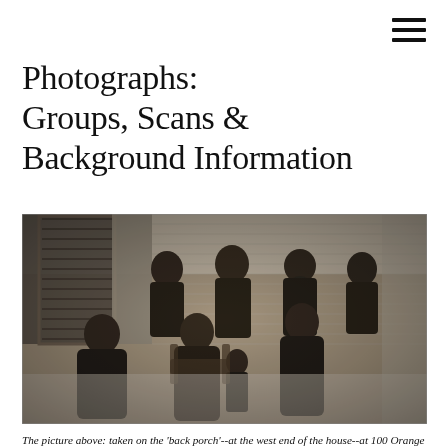Photographs: Groups, Scans & Background Information
[Figure (photo): Black and white historical family group portrait photograph taken on the back porch (west end) of the house at 100 Orange Street. Multiple adults and a child are posed together; the house siding and shutters are visible in the background.]
The picture above: taken on the 'back porch'--at the west end of the house--at 100 Orange Street, this is the first family group portrait at what was then the new house. Shown are an unknown woman, possibly Anna Cahalan